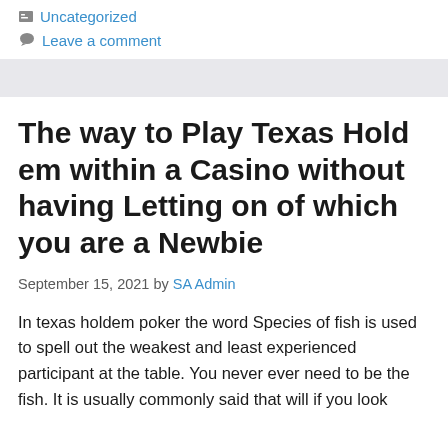Uncategorized
Leave a comment
The way to Play Texas Hold em within a Casino without having Letting on of which you are a Newbie
September 15, 2021 by SA Admin
In texas holdem poker the word Species of fish is used to spell out the weakest and least experienced participant at the table. You never ever need to be the fish. It is usually commonly said that will if you look